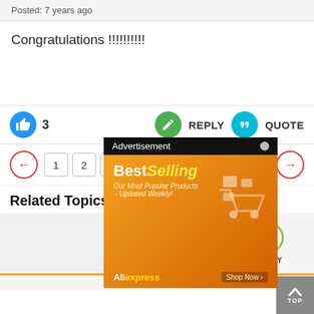Posted: 7 years ago
Congratulations !!!!!!!!!!
3
REPLY
QUOTE
1 2 3 4 5 6 ... 150
[Figure (screenshot): Advertisement banner from AliExpress showing BestSelling products with orange background]
Related Topics
TOPICS
REPLY